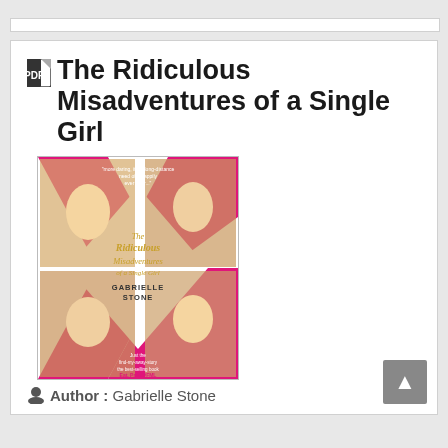The Ridiculous Misadventures of a Single Girl
[Figure (photo): Book cover of 'The Ridiculous Misadventures of a Single Girl' by Gabrielle Stone, showing four images of a woman in a pink sash arranged in a diamond/X pattern with pink and white design]
Author : Gabrielle Stone